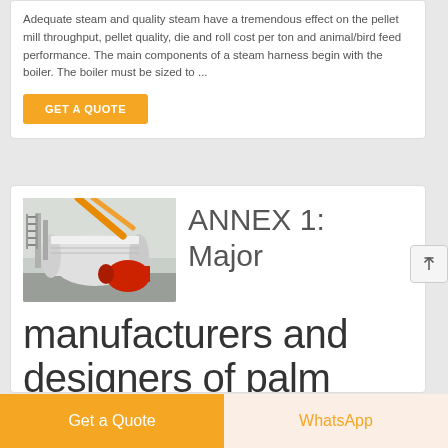Adequate steam and quality steam have a tremendous effect on the pellet mill throughput, pellet quality, die and roll cost per ton and animal/bird feed performance. The main components of a steam harness begin with the boiler. The boiler must be sized to ...
GET A QUOTE
[Figure (photo): Photo of an industrial boiler with orange/yellow pipes and a red burner unit in a facility]
ANNEX 1: Major manufacturers and designers of palm
Get a Quote
WhatsApp